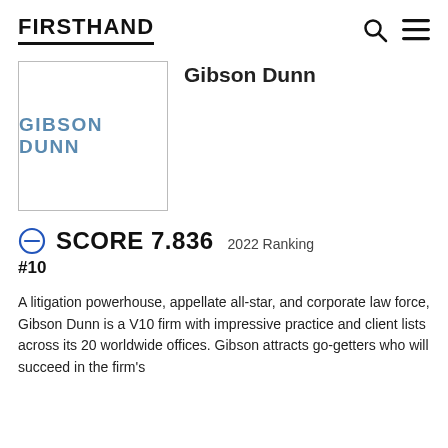FIRSTHAND
Gibson Dunn
[Figure (logo): Gibson Dunn company logo: text 'GIBSON DUNN' in blue/steel color inside a white box with light gray border]
SCORE 7.836   2022 Ranking
#10
A litigation powerhouse, appellate all-star, and corporate law force, Gibson Dunn is a V10 firm with impressive practice and client lists across its 20 worldwide offices. Gibson attracts go-getters who will succeed in the firm's